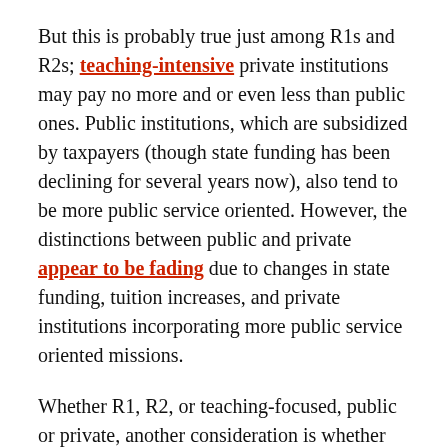But this is probably true just among R1s and R2s; teaching-intensive private institutions may pay no more and or even less than public ones. Public institutions, which are subsidized by taxpayers (though state funding has been declining for several years now), also tend to be more public service oriented. However, the distinctions between public and private appear to be fading due to changes in state funding, tuition increases, and private institutions incorporating more public service oriented missions.
Whether R1, R2, or teaching-focused, public or private, another consideration is whether you want to teach undergraduate or graduate students (or both). In North Carolina, there are 23 BSW and 12 MSW programs.